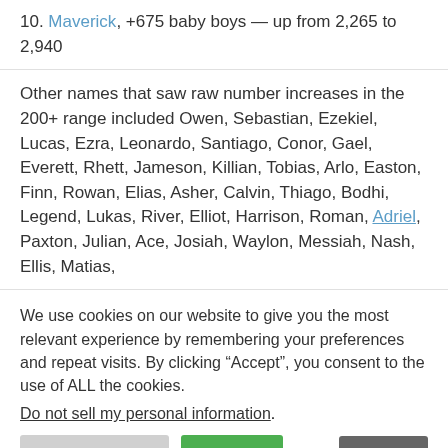10. Maverick, +675 baby boys — up from 2,265 to 2,940
Other names that saw raw number increases in the 200+ range included Owen, Sebastian, Ezekiel, Lucas, Ezra, Leonardo, Santiago, Conor, Gael, Everett, Rhett, Jameson, Killian, Tobias, Arlo, Easton, Finn, Rowan, Elias, Asher, Calvin, Thiago, Bodhi, Legend, Lukas, River, Elliot, Harrison, Roman, Adriel, Paxton, Julian, Ace, Josiah, Waylon, Messiah, Nash, Ellis, Matias,
We use cookies on our website to give you the most relevant experience by remembering your preferences and repeat visits. By clicking “Accept”, you consent to the use of ALL the cookies.
Do not sell my personal information.